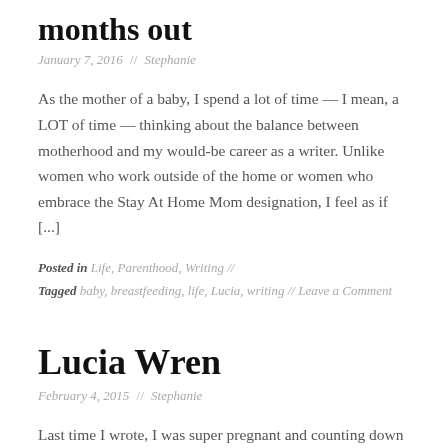months out
January 7, 2016  //  Stephanie
As the mother of a baby, I spend a lot of time — I mean, a LOT of time — thinking about the balance between motherhood and my would-be career as a writer. Unlike women who work outside of the home or women who embrace the Stay At Home Mom designation, I feel as if [...]
Posted in Life, Parenthood, Writing //
Tagged baby, breastfeeding, life, Lucia, writing // Leave a Comment
Lucia Wren
February 4, 2015  //  Stephanie
Last time I wrote, I was super pregnant and counting down the days until our baby — who, while being very real, still felt a bit, um, theoretical — made her appearance. I had a